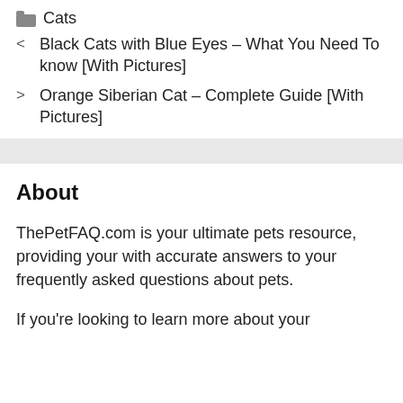Cats
< Black Cats with Blue Eyes – What You Need To know [With Pictures]
> Orange Siberian Cat – Complete Guide [With Pictures]
About
ThePetFAQ.com is your ultimate pets resource, providing your with accurate answers to your frequently asked questions about pets.
If you're looking to learn more about your